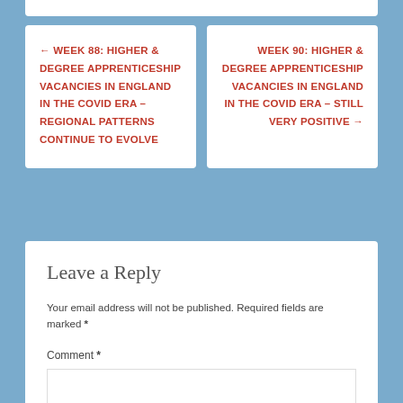← WEEK 88: HIGHER & DEGREE APPRENTICESHIP VACANCIES IN ENGLAND IN THE COVID ERA – REGIONAL PATTERNS CONTINUE TO EVOLVE
WEEK 90: HIGHER & DEGREE APPRENTICESHIP VACANCIES IN ENGLAND IN THE COVID ERA – STILL VERY POSITIVE →
Leave a Reply
Your email address will not be published. Required fields are marked *
Comment *